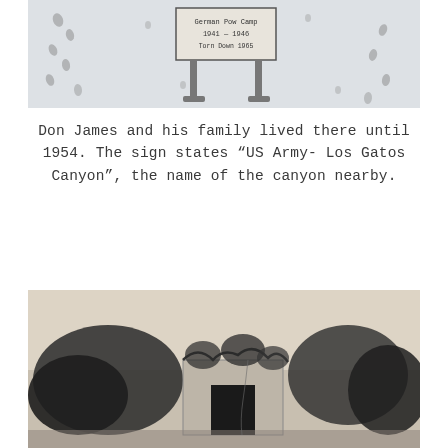[Figure (illustration): A hand-drawn sketch showing a sign post with text reading 'German POW Camp 1941-1946 Torn Down 1965' with footprints scattered around it on a light background.]
Don James and his family lived there until 1954. The sign states “US Army- Los Gatos Canyon”, the name of the canyon nearby.
[Figure (photo): A black and white photograph showing an old stone or concrete structure overgrown with vines and vegetation, partially obscured by trees and shrubs.]